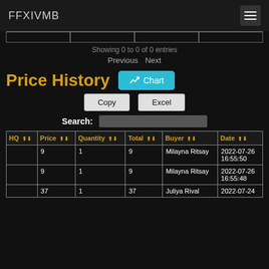FFXIVMB
Showing 0 to 0 of 0 entries
Previous  Next
Price History
| HQ | Price | Quantity | Total | Buyer | Date |
| --- | --- | --- | --- | --- | --- |
|  | 9 | 1 | 9 | Milayna Ritsay | 2022-07-26 16:55:50 |
|  | 9 | 1 | 9 | Milayna Ritsay | 2022-07-26 16:55:48 |
|  | 37 | 1 | 37 | Juliya Rival | 2022-07-24 |